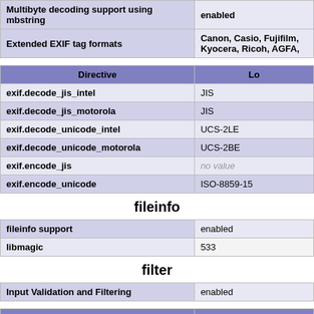|  |  |
| --- | --- |
| Multibyte decoding support using mbstring | enabled |
| Extended EXIF tag formats | Canon, Casio, Fujifilm, Kyocera, Ricoh, AGFA, |
| Directive | Lo |
| --- | --- |
| exif.decode_jis_intel | JIS |
| exif.decode_jis_motorola | JIS |
| exif.decode_unicode_intel | UCS-2LE |
| exif.decode_unicode_motorola | UCS-2BE |
| exif.encode_jis | no value |
| exif.encode_unicode | ISO-8859-15 |
fileinfo
| fileinfo support | enabled |
| libmagic | 533 |
filter
| Input Validation and Filtering | enabled |
| Directive | Lo |
| --- | --- |